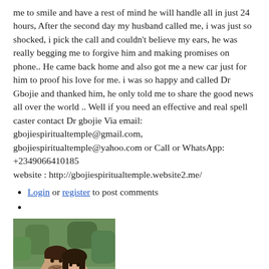me to smile and have a rest of mind he will handle all in just 24 hours, After the second day my husband called me, i was just so shocked, i pick the call and couldn't believe my ears, he was really begging me to forgive him and making promises on phone.. He came back home and also got me a new car just for him to proof his love for me. i was so happy and called Dr Gbojie and thanked him, he only told me to share the good news all over the world .. Well if you need an effective and real spell caster contact Dr gbojie Via email: gbojiespiritualtemple@gmail.com, gbojiespiritualtemple@yahoo.com or Call or WhatsApp: +2349066410185
website : http://gbojiespiritualtemple.website2.me/
Login or register to post comments
[Figure (photo): A couple photo showing a man and woman smiling together, outdoors with green foliage background.]
Tue, 09/10/2019 - 11:21pm
LaurenW777 Says:
0